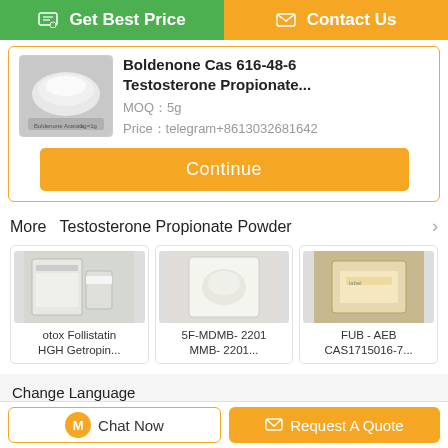[Figure (screenshot): Get Best Price and Contact Us buttons at top]
[Figure (photo): Product photo of white powder in a container]
Boldenone Cas 616-48-6 Testosterone Propionate...
MOQ：5g
Price：telegram+8613032681642
[Figure (other): Continue button (orange)]
More  Testosterone Propionate Powder
[Figure (photo): otox Follistatin HGH Getropin... product image]
otox Follistatin HGH Getropin...
[Figure (photo): 5F-MDMB-2201 MMB-2201... product image]
5F-MDMB- 2201 MMB- 2201...
[Figure (photo): FUB-AEB CAS1715016-7... product image]
FUB - AEB CAS1715016-7...
Change Language
english
Chat Now
Request A Quote